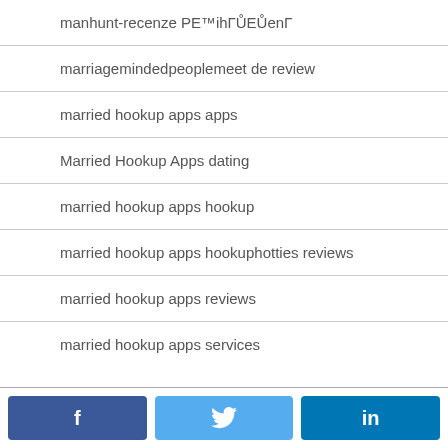manhunt-recenze PE™ihГŮЕŮenГ
marriagemindedpeoplemeet de review
married hookup apps apps
Married Hookup Apps dating
married hookup apps hookup
married hookup apps hookuphotties reviews
married hookup apps reviews
married hookup apps services